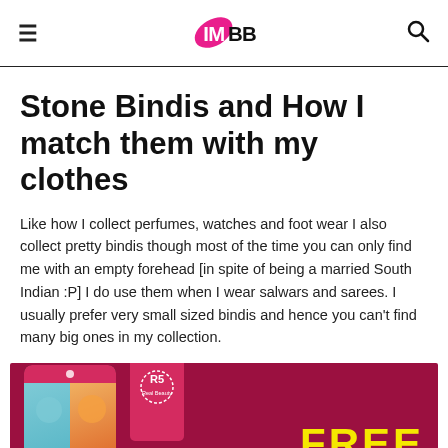IMBB (logo)
Stone Bindis and How I match them with my clothes
Like how I collect perfumes, watches and foot wear I also collect pretty bindis though most of the time you can only find me with an empty forehead [in spite of being a married South Indian :P] I do use them when I wear salwars and sarees. I usually prefer very small sized bindis and hence you can't find many big ones in my collection.
[Figure (infographic): Advertisement banner with dark red/maroon background showing a tablet device on the left with food images and text '30 LOW CALORIES', a pink badge with a flower logo and 'Real Beauty' text, and large yellow 'FREE' text on the right.]